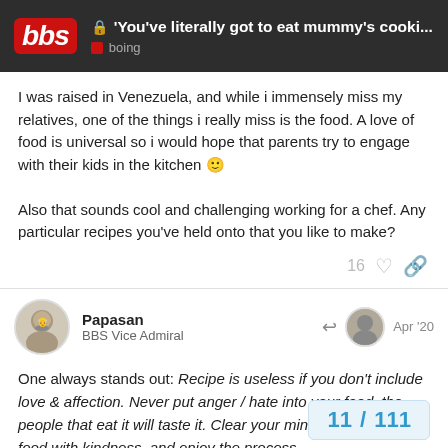'You've literally got to eat mummy's cooki... | boing
I was raised in Venezuela, and while i immensely miss my relatives, one of the things i really miss is the food. A love of food is universal so i would hope that parents try to engage with their kids in the kitchen 🙂

Also that sounds cool and challenging working for a chef. Any particular recipes you've held onto that you like to make?
16
Papasan
BBS Vice Admiral
Apr '20
One always stands out: Recipe is useless if you don't include love & affection. Never put anger / hate into your food, the people that eat it will taste it. Clear your mind, speak to the food with kindness, and enjoy the process.

Hars 1972'ish
11 / 111